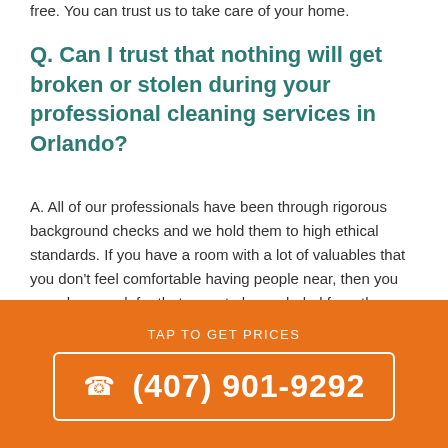free. You can trust us to take care of your home.
Q. Can I trust that nothing will get broken or stolen during your professional cleaning services in Orlando?
A. All of our professionals have been through rigorous background checks and we hold them to high ethical standards. If you have a room with a lot of valuables that you don't feel comfortable having people near, then you can always ask for that room to be excluded from the Orlando cleaning services.
Q. After the cleaning service in Orlando is finished, how long do I have to wait before I can enter my home?
TAP TO GET PRICES
(407) 901-9292